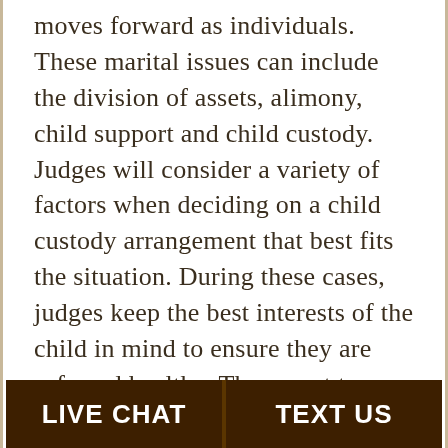moves forward as individuals. These marital issues can include the division of assets, alimony, child support and child custody. Judges will consider a variety of factors when deciding on a child custody arrangement that best fits the situation. During these cases, judges keep the best interests of the child in mind to ensure they are safe and healthy. They want to ensure that they are growing up in a healthy and safe environment. A parent with physical custody of a child can be referred to as the custodial parent. The custodial parent is who the child will live with on a regular basis. Although the other parent may have
LIVE CHAT   TEXT US